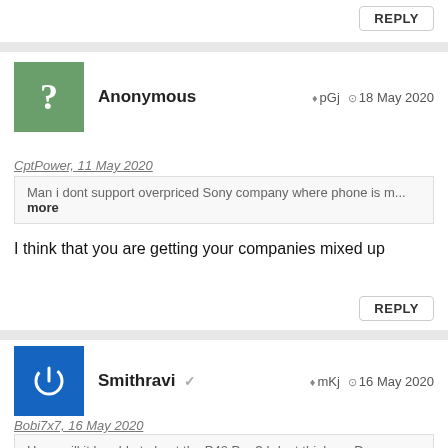REPLY
Anonymous | pGj | 18 May 2020
CptPower, 11 May 2020
Man i dont support overpriced Sony company where phone is m... more
I think that you are getting your companies mixed up
REPLY
Smithravi | mKj | 16 May 2020
Bobi7x7, 16 May 2020
Hmm will it be able to beat the P40 Pro ? I dont think so :D